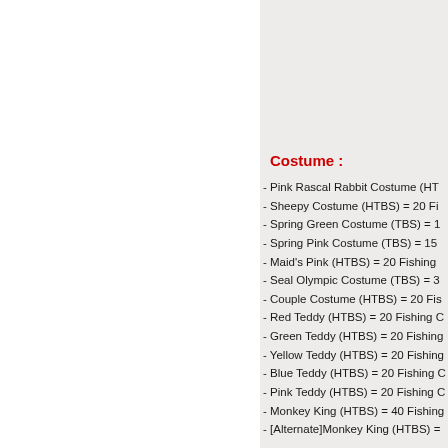Costume :
- Pink Rascal Rabbit Costume (HT…
- Sheepy Costume (HTBS) = 20 Fi…
- Spring Green Costume (TBS) = 1…
- Spring Pink Costume (TBS) = 15…
- Maid's Pink (HTBS) = 20 Fishing…
- Seal Olympic Costume (TBS) = 3…
- Couple Costume (HTBS) = 20 Fis…
- Red Teddy (HTBS) = 20 Fishing C…
- Green Teddy (HTBS) = 20 Fishing…
- Yellow Teddy (HTBS) = 20 Fishing…
- Blue Teddy (HTBS) = 20 Fishing C…
- Pink Teddy (HTBS) = 20 Fishing C…
- Monkey King (HTBS) = 40 Fishing…
- [Alternate]Monkey King (HTBS) =…